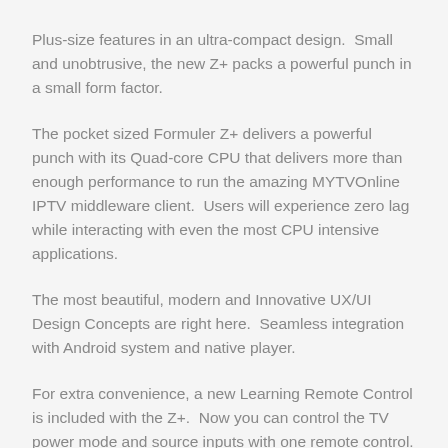Plus-size features in an ultra-compact design.  Small and unobtrusive, the new Z+ packs a powerful punch in a small form factor.
The pocket sized Formuler Z+ delivers a powerful punch with its Quad-core CPU that delivers more than enough performance to run the amazing MYTVOnline IPTV middleware client.  Users will experience zero lag while interacting with even the most CPU intensive applications.
The most beautiful, modern and Innovative UX/UI Design Concepts are right here.  Seamless integration with Android system and native player.
For extra convenience, a new Learning Remote Control is included with the Z+.  Now you can control the TV power mode and source inputs with one remote control.